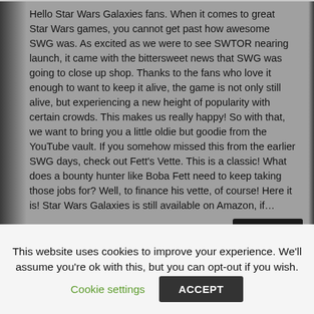Hello Star Wars Galaxies fans. When it comes to great Star Wars games, you cannot get past how awesome SWG was. As excited as we were to see SWTOR nearing launch, it came with the bittersweet news that SWG was going to close up shop. Thanks to the fans who love it enough to want to keep it alive, the game is not only still alive, but experiencing a new height of popularity with certain crowds. This makes us really happy! So with that, we want to bring you a little oldie but goodie from the YouTube vault. If you somehow missed this from the earlier SWG days, check out Fett's Vette. This is a classic! What does a bounty hunter like Boba Fett need to keep taking those jobs for? Well, to finance his vette, of course! Here it is! Star Wars Galaxies is still available on Amazon, if…
This website uses cookies to improve your experience. We'll assume you're ok with this, but you can opt-out if you wish.
Cookie settings
ACCEPT